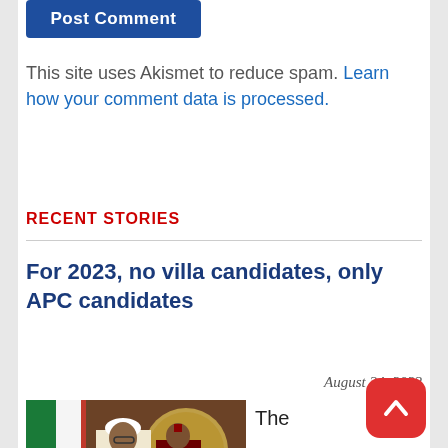[Figure (other): Blue 'Post Comment' button]
This site uses Akismet to reduce spam. Learn how your comment data is processed.
RECENT STORIES
For 2023, no villa candidates, only APC candidates
August 24, 2022
[Figure (photo): Photo of Nigerian president Buhari with aide in front of Nigerian flag and presidential seal]
The